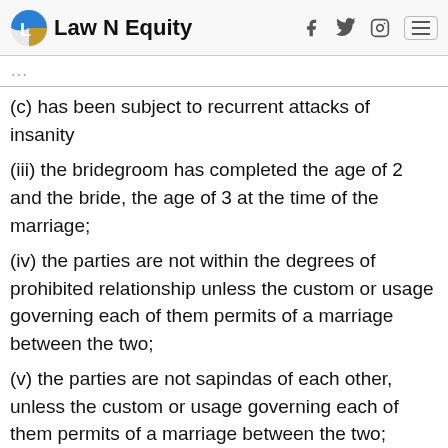Law N Equity
(c) has been subject to recurrent attacks of insanity
(iii) the bridegroom has completed the age of 2 and the bride, the age of 3 at the time of the marriage;
(iv) the parties are not within the degrees of prohibited relationship unless the custom or usage governing each of them permits of a marriage between the two;
(v) the parties are not sapindas of each other, unless the custom or usage governing each of them permits of a marriage between the two;